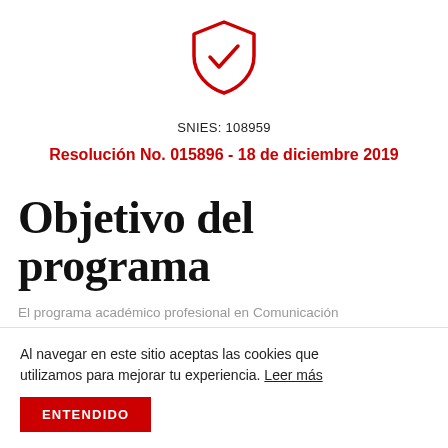[Figure (logo): Red shield icon with a checkmark inside, representing accreditation or verification]
SNIES: 108959
Resolución No. 015896 - 18 de diciembre 2019
Objetivo del programa
El programa académico profesional en Comunicación
Al navegar en este sitio aceptas las cookies que utilizamos para mejorar tu experiencia. Leer más
ENTENDIDO